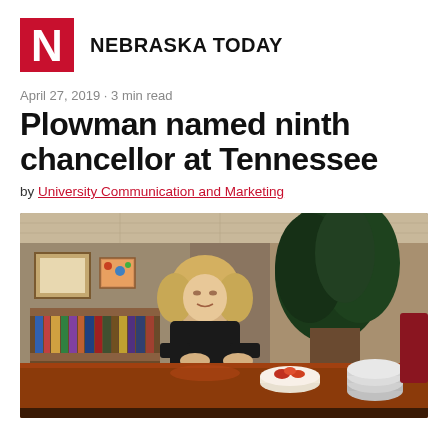NEBRASKA TODAY
April 27, 2019 · 3 min read
Plowman named ninth chancellor at Tennessee
by University Communication and Marketing
[Figure (photo): A woman with blonde hair in a black top sits at a large wooden desk in an office setting with plants, framed artwork, and bookshelves in the background.]